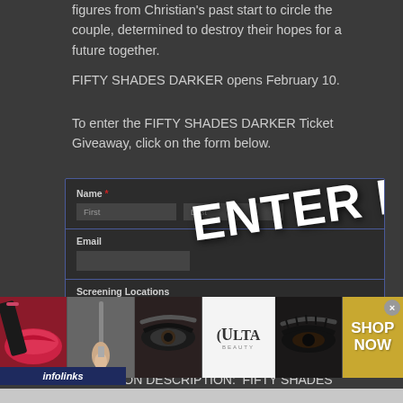figures from Christian's past start to circle the couple, determined to destroy their hopes for a future together.
FIFTY SHADES DARKER opens February 10.
To enter the FIFTY SHADES DARKER Ticket Giveaway, click on the form below.
[Figure (screenshot): A web form with Name (First, Last) and Email fields, Screening Locations dropdown set to Chicago, with a large 'ENTER HERE' text overlaid diagonally in white bold letters.]
NO PURCHASE NECESSARY
PROMOTION DESCRIPTION:  FIFTY SHADES DARKER
[Figure (infographic): Infolinks ad banner at bottom showing makeup photos (lips, brush, eyes), Ulta Beauty logo, and 'SHOP NOW' call to action in gold background.]